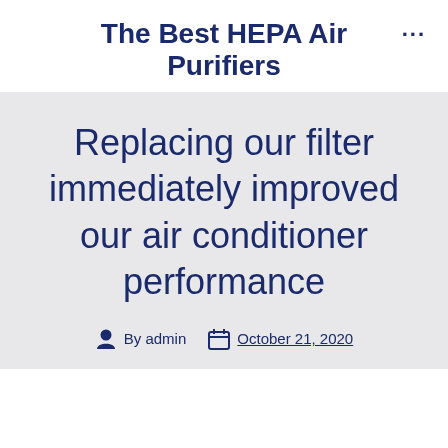The Best HEPA Air Purifiers
Replacing our filter immediately improved our air conditioner performance
By admin   October 21, 2020